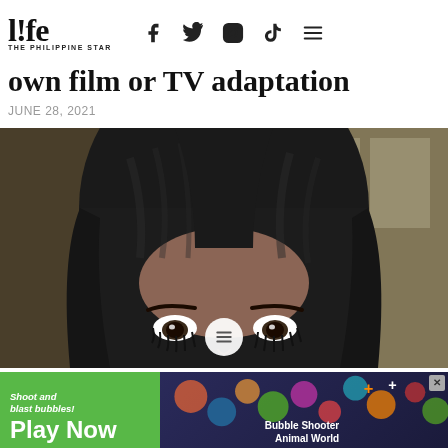life THE PHILIPPINE STAR
own film or TV adaptation
JUNE 28, 2021
[Figure (illustration): Close-up of an anime-style female character with long dark hair partially covering her face, showing expressive eyes with long lashes, against a blurred background]
[Figure (screenshot): Advertisement banner: green left side with 'Shoot and blast bubbles! Play Now' text, right side showing game imagery with text 'Bubble Shooter Animal World']